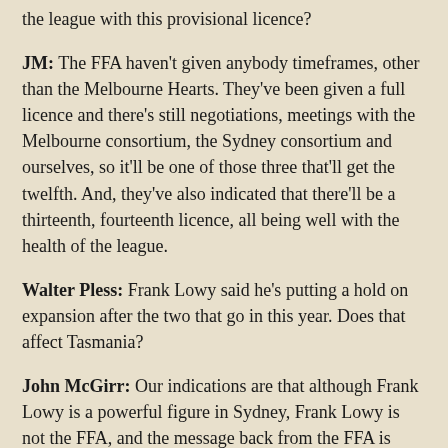the league with this provisional licence?
JM: The FFA haven't given anybody timeframes, other than the Melbourne Hearts. They've been given a full licence and there's still negotiations, meetings with the Melbourne consortium, the Sydney consortium and ourselves, so it'll be one of those three that'll get the twelfth. And, they've also indicated that there'll be a thirteenth, fourteenth licence, all being well with the health of the league.
Walter Pless: Frank Lowy said he's putting a hold on expansion after the two that go in this year. Does that affect Tasmania?
John McGirr: Our indications are that although Frank Lowy is a powerful figure in Sydney, Frank Lowy is not the FFA, and the message back from the FFA is there is no hold on expansion.
Jeremy Arnold: So this licence, how confident are you of securing this licence?
John McGirr: We'll...